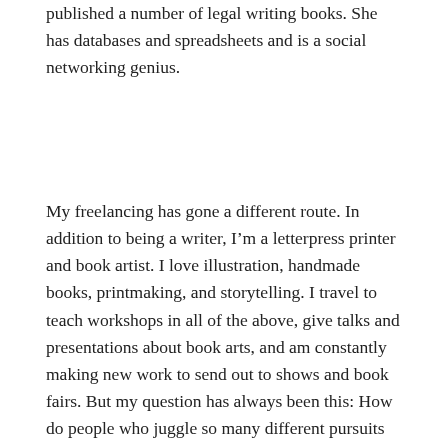published a number of legal writing books. She has databases and spreadsheets and is a social networking genius.
My freelancing has gone a different route. In addition to being a writer, I'm a letterpress printer and book artist. I love illustration, handmade books, printmaking, and storytelling. I travel to teach workshops in all of the above, give talks and presentations about book arts, and am constantly making new work to send out to shows and book fairs. But my question has always been this: How do people who juggle so many different pursuits manage to complete all these tasks and stay sane?
Last week seemed unusual at first—but then I realized that it's actually quite representative of my day-to-day life. I'm half artist and half writer. I have a seasonal job that involves neither. I'm split most every day, torn between